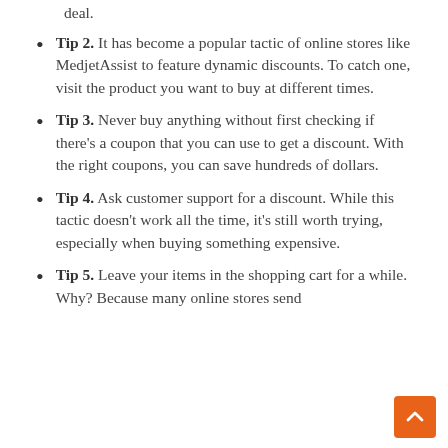deal.
Tip 2. It has become a popular tactic of online stores like MedjetAssist to feature dynamic discounts. To catch one, visit the product you want to buy at different times.
Tip 3. Never buy anything without first checking if there's a coupon that you can use to get a discount. With the right coupons, you can save hundreds of dollars.
Tip 4. Ask customer support for a discount. While this tactic doesn't work all the time, it's still worth trying, especially when buying something expensive.
Tip 5. Leave your items in the shopping cart for a while. Why? Because many online stores send